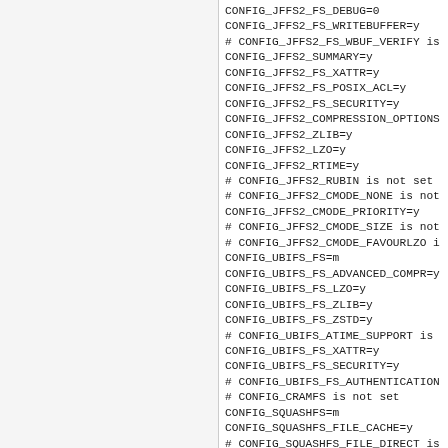CONFIG_JFFS2_FS_DEBUG=0
CONFIG_JFFS2_FS_WRITEBUFFER=y
# CONFIG_JFFS2_FS_WBUF_VERIFY is
CONFIG_JFFS2_SUMMARY=y
CONFIG_JFFS2_FS_XATTR=y
CONFIG_JFFS2_FS_POSIX_ACL=y
CONFIG_JFFS2_FS_SECURITY=y
CONFIG_JFFS2_COMPRESSION_OPTIONS
CONFIG_JFFS2_ZLIB=y
CONFIG_JFFS2_LZO=y
CONFIG_JFFS2_RTIME=y
# CONFIG_JFFS2_RUBIN is not set
# CONFIG_JFFS2_CMODE_NONE is not
CONFIG_JFFS2_CMODE_PRIORITY=y
# CONFIG_JFFS2_CMODE_SIZE is not
# CONFIG_JFFS2_CMODE_FAVOURLZO i
CONFIG_UBIFS_FS=m
CONFIG_UBIFS_FS_ADVANCED_COMPR=y
CONFIG_UBIFS_FS_LZO=y
CONFIG_UBIFS_FS_ZLIB=y
CONFIG_UBIFS_FS_ZSTD=y
# CONFIG_UBIFS_ATIME_SUPPORT is
CONFIG_UBIFS_FS_XATTR=y
CONFIG_UBIFS_FS_SECURITY=y
# CONFIG_UBIFS_FS_AUTHENTICATION
# CONFIG_CRAMFS is not set
CONFIG_SQUASHFS=m
CONFIG_SQUASHFS_FILE_CACHE=y
# CONFIG_SQUASHFS_FILE_DIRECT is
CONFIG_SQUASHFS_DECOMP_SINGLE=y
# CONFIG_SQUASHFS_DECOMP_MULTI i
# CONFIG_SQUASHFS_DECOMP_MULTI_P